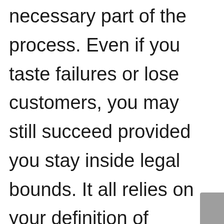necessary part of the process. Even if you taste failures or lose customers, you may still succeed provided you stay inside legal bounds. It all relies on your definition of success and how you handle the fallout.

Without a defined framework or a set of benchmarks for evaluating progress, you'll find yourself drowned in an unfathomable sea flooded with questions. Let's assume despite everything project went well, but is it